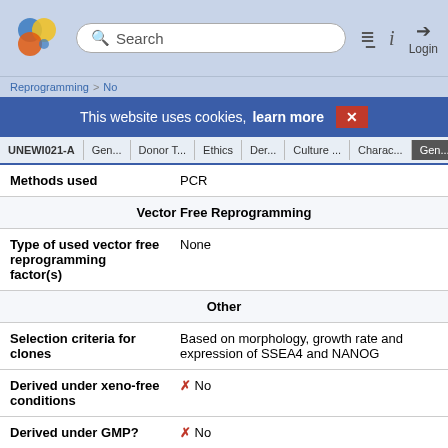Search | hPSCreg
This website uses cookies, learn more X
| UNEWI021-A | Gen... | Donor T... | Ethics | Der... | Culture ... | Charac... | Gen... |
| --- | --- | --- | --- | --- | --- | --- | --- |
| Methods used | PCR |  |  |  |  |  |  |
| Vector Free Reprogramming |  |  |  |  |  |  |  |
| Type of used vector free reprogramming factor(s) | None |  |  |  |  |  |  |
| Other |  |  |  |  |  |  |  |
| Selection criteria for clones | Based on morphology, growth rate and expression of SSEA4 and NANOG |  |  |  |  |  |  |
| Derived under xeno-free conditions | ✗ No |  |  |  |  |  |  |
| Derived under GMP? | ✗ No |  |  |  |  |  |  |